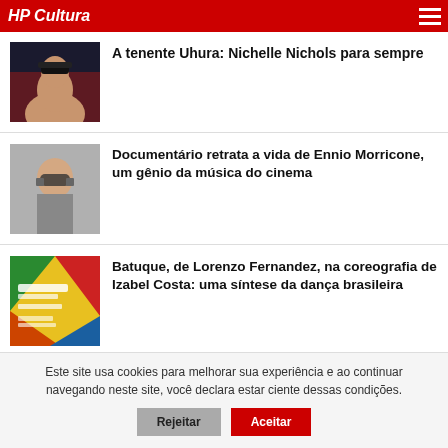HP Cultura
[Figure (photo): Photo of actress Nichelle Nichols in Star Trek uniform against dark background]
A tenente Uhura: Nichelle Nichols para sempre
[Figure (photo): Photo of elderly Ennio Morricone with glasses]
Documentário retrata a vida de Ennio Morricone, um gênio da música do cinema
[Figure (photo): Colorful book cover for Batuque by Lorenzo Fernandez, choreography by Izabel Costa]
Batuque, de Lorenzo Fernandez, na coreografia de Izabel Costa: uma síntese da dança brasileira
Este site usa cookies para melhorar sua experiência e ao continuar navegando neste site, você declara estar ciente dessas condições.